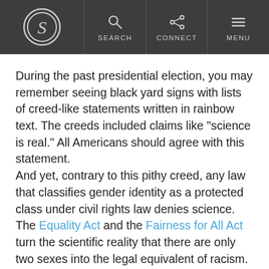S logo | SEARCH | CONNECT | MENU
During the past presidential election, you may remember seeing black yard signs with lists of creed-like statements written in rainbow text. The creeds included claims like “science is real.” All Americans should agree with this statement.
And yet, contrary to this pithy creed, any law that classifies gender identity as a protected class under civil rights law denies science. The Equality Act and the Fairness for All Act turn the scientific reality that there are only two sexes into the legal equivalent of racism.